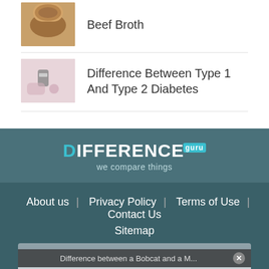Beef Broth
Difference Between Type 1 And Type 2 Diabetes
[Figure (logo): Difference.guru logo with tagline 'we compare things']
About us | Privacy Policy | Terms of Use | Contact Us | Sitemap
Difference between a Bobcat and a M...
No compatible source was found for this media.